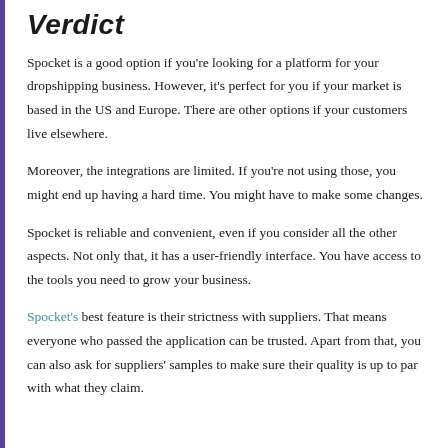Verdict
Spocket is a good option if you're looking for a platform for your dropshipping business. However, it's perfect for you if your market is based in the US and Europe. There are other options if your customers live elsewhere.
Moreover, the integrations are limited. If you're not using those, you might end up having a hard time. You might have to make some changes.
Spocket is reliable and convenient, even if you consider all the other aspects. Not only that, it has a user-friendly interface. You have access to the tools you need to grow your business.
Spocket's best feature is their strictness with suppliers. That means everyone who passed the application can be trusted. Apart from that, you can also ask for suppliers' samples to make sure their quality is up to par with what they claim.